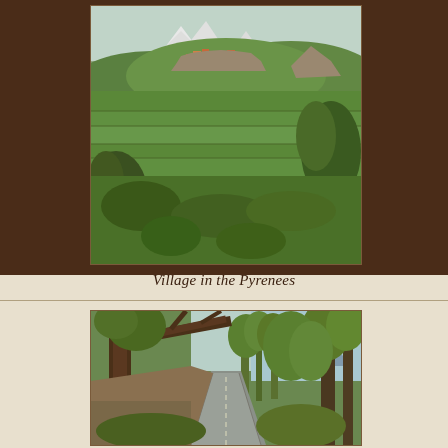[Figure (photo): Landscape photo of a village nestled among green hills in the Pyrenees, with snow-capped mountains visible in the background. Green terraced fields and rocky outcrops surround the village.]
Village in the Pyrenees
[Figure (photo): A winding road through a dense deciduous forest with large overhanging tree branches, mountains visible in the background through a clearing.]